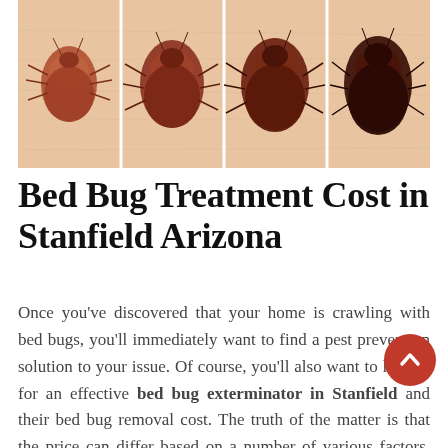[Figure (photo): Close-up photographs of bed bugs showing four specimens at different life stages / sizes, ranging from lighter reddish-brown to darker brown-black, displayed side by side on human skin background.]
Bed Bug Treatment Cost in Stanfield Arizona
Once you’ve discovered that your home is crawling with bed bugs, you’ll immediately want to find a pest prevention solution to your issue. Of course, you’ll also want to look at for an effective bed bug exterminator in Stanfield and their bed bug removal cost. The truth of the matter is that the price can differ based on a number of various factors, including the extent of your problem and the size of your home. Professional bed bug heat treatment are typically charged per square foot and tend to cost more than chemical or non-chemical spray solutions.